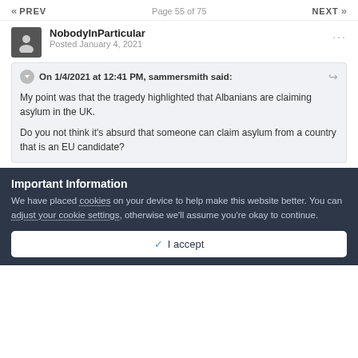PREV  Page 55 of 75  NEXT
NobodyInParticular
Posted January 4, 2021
On 1/4/2021 at 12:41 PM, sammersmith said:

My point was that the tragedy highlighted that Albanians are claiming asylum in the UK.

Do you not think it's absurd that someone can claim asylum from a country that is an EU candidate?
Important Information
We have placed cookies on your device to help make this website better. You can adjust your cookie settings, otherwise we'll assume you're okay to continue.
✓ I accept